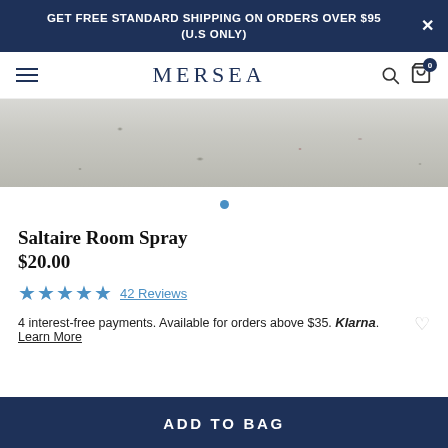GET FREE STANDARD SHIPPING ON ORDERS OVER $95 (U.S ONLY)
MERSEA
[Figure (photo): Close-up product background texture — light grey/white speckled stone or fabric surface]
Saltaire Room Spray
$20.00
★★★★★ 42 Reviews
4 interest-free payments. Available for orders above $35. Klarna. Learn More
ADD TO BAG